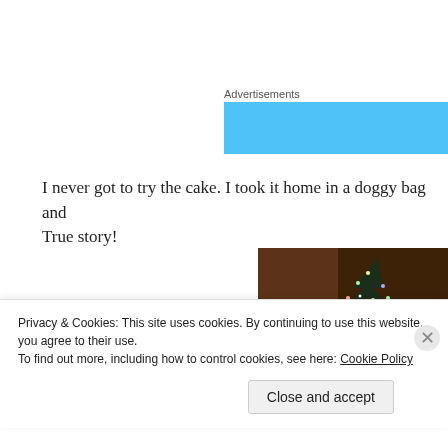Advertisements
[Figure (other): Blue advertisement banner]
I never got to try the cake. I took it home in a doggy bag and True story!
[Figure (photo): A dark photo showing a Christmas tree with lights and a white plate or circular object in the foreground]
Privacy & Cookies: This site uses cookies. By continuing to use this website, you agree to their use.
To find out more, including how to control cookies, see here: Cookie Policy
Close and accept